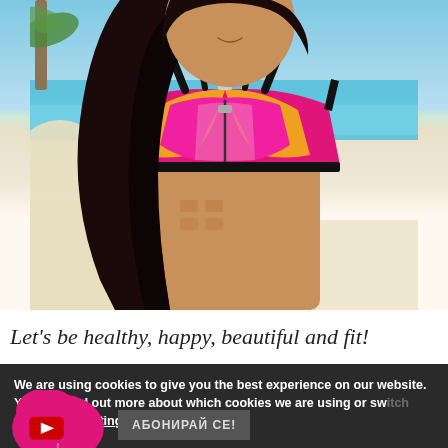[Figure (photo): Woman wearing a pink and orange sports bra / swimwear top with front zipper, standing on a beach with turquoise water and palm trees in the background. Dark hair, smiling.]
Let's be healthy, happy, beautiful and fit!
We are using cookies to give you the best experience on our website.
You can find out more about which cookies we are using or switch them off in settings.
АБОНИРАЙ СЕ!